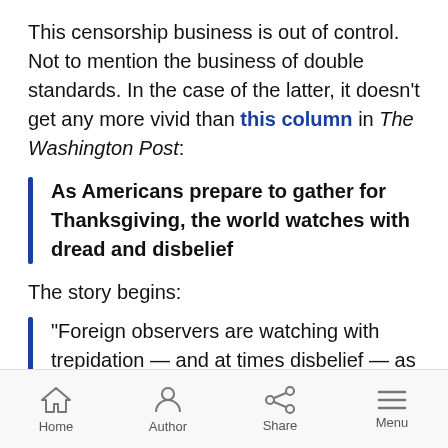This censorship business is out of control. Not to mention the business of double standards. In the case of the latter, it doesn't get any more vivid than this column in The Washington Post:
As Americans prepare to gather for Thanksgiving, the world watches with dread and disbelief
The story begins:
“Foreign observers are watching with trepidation — and at times disbelief — as coronavirus cases surge across the United States, and masses of
Home  Author  Share  Menu